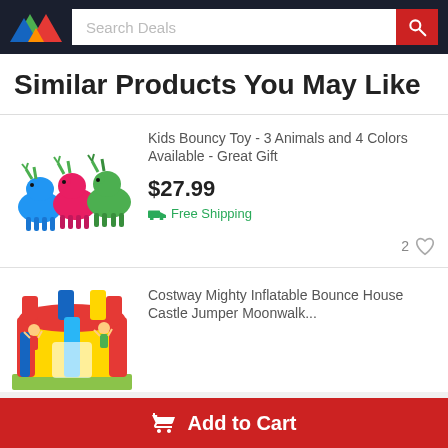Search Deals
Similar Products You May Like
[Figure (photo): Three colorful inflatable bouncy animal toys (reindeer shapes) in blue, pink/red, and green]
Kids Bouncy Toy - 3 Animals and 4 Colors Available - Great Gift
$27.99
Free Shipping
2 likes
[Figure (photo): Costway Mighty Inflatable Bounce House Castle Jumper Moonwalk with children playing]
Costway Mighty Inflatable Bounce House Castle Jumper Moonwalk...
Add to Cart